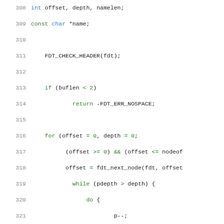[Figure (screenshot): Source code listing in C, lines 308–329, showing variable declarations, FDT_CHECK_HEADER macro call, a conditional, a for loop with nested while/do-while constructs, and an if block with function calls.]